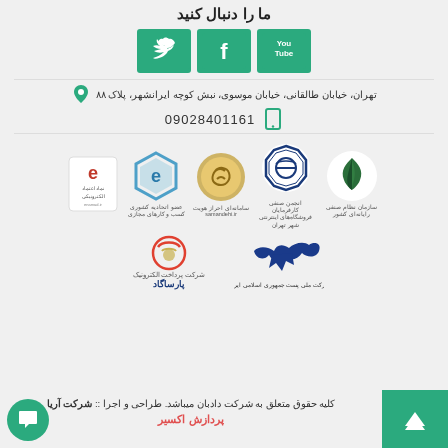ما را دنبال کنید
[Figure (logo): Three social media buttons: YouTube, Facebook, Twitter in green squares]
تهران، خیابان طالقانی، خیابان موسوی، نبش کوچه ایرانشهر، پلاک ۸۸
09028401161
[Figure (logo): Five trust/certification badge logos: سازمان نظام صنفی رایانه‌ای کشور, انجمن صنفی کارفرمایان فروشگاه‌های اینترنتی شهر تهران, samandehi.ir, عضو اتحادیه کشوری کسب و کارهای مجازی, enamad]
[Figure (logo): Two logos: شرکت ملی پست جمهوری اسلامی ایران, شرکت پرداخت الکترونیک پارساگاد]
کلیه حقوق متعلق به شرکت دادبان میباشد. طراحی و اجرا :: شرکت آریا پردازش اکسیر